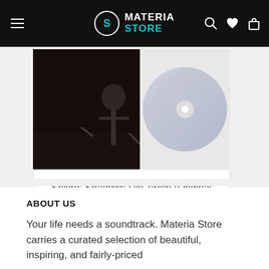MATERIA STORE
[Figure (screenshot): Product image showing Sekiro: Shadows Die Twice game artwork (dark scene with warrior figure) and a compact disc]
Sekiro: Shadows Die Twice (Original Game Soundtrack) (Compact Disc)
$24.99
ABOUT US
Your life needs a soundtrack. Materia Store carries a curated selection of beautiful, inspiring, and fairly-priced